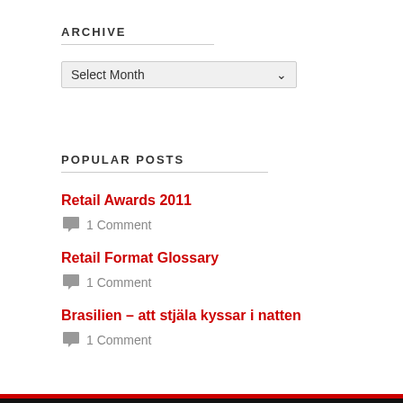ARCHIVE
Select Month
POPULAR POSTS
Retail Awards 2011 — 1 Comment
Retail Format Glossary — 1 Comment
Brasilien – att stjäla kyssar i natten — 1 Comment